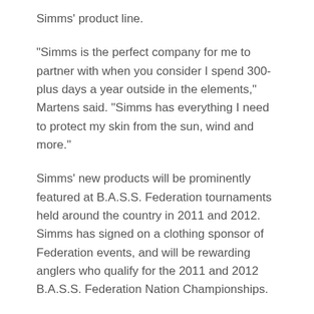Simms' product line.
“Simms is the perfect company for me to partner with when you consider I spend 300-plus days a year outside in the elements,” Martens said. “Simms has everything I need to protect my skin from the sun, wind and more.”
Simms’ new products will be prominently featured at B.A.S.S. Federation tournaments held around the country in 2011 and 2012. Simms has signed on a clothing sponsor of Federation events, and will be rewarding anglers who qualify for the 2011 and 2012 B.A.S.S. Federation Nation Championships.
Federation Nation anglers are in for a treat with Simms gear, said Monroe.
“As a professional angler I demand the best outerwear to keep me dry and comfortable, and Simms puts out products that excel